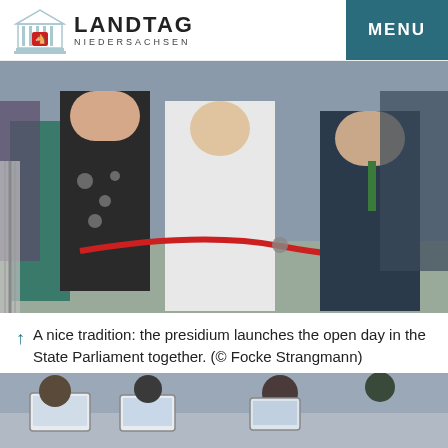LANDTAG NIEDERSACHSEN | MENU
[Figure (photo): People cutting a red ribbon on the steps of a building, including a woman in a white suit with scissors cutting the ribbon, another woman in a black patterned dress, and an older man in a dark suit, with other attendees in the background.]
↑ A nice tradition: the presidium launches the open day in the State Parliament together. (© Focke Strangmann)
[Figure (photo): Partial view of people seated in what appears to be a parliamentary chamber, with laptops visible on desks.]